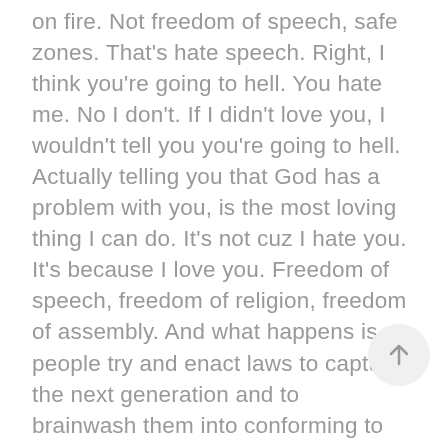on fire. Not freedom of speech, safe zones. That's hate speech. Right, I think you're going to hell. You hate me. No I don't. If I didn't love you, I wouldn't tell you you're going to hell. Actually telling you that God has a problem with you, is the most loving thing I can do. It's not cuz I hate you. It's because I love you. Freedom of speech, freedom of religion, freedom of assembly. And what happens is, people try and enact laws to capture the next generation and to brainwash them into conforming to the spirit of the age rather than being conformed to the spirit of God. Give you an example, any of your parents with kids in school, little guys? Any of you? Any of you a little freaked out about where some of the